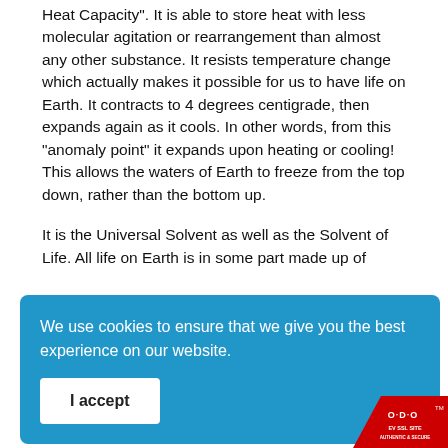Heat Capacity". It is able to store heat with less molecular agitation or rearrangement than almost any other substance. It resists temperature change which actually makes it possible for us to have life on Earth. It contracts to 4 degrees centigrade, then expands again as it cools. In other words, from this "anomaly point" it expands upon heating or cooling! This allows the waters of Earth to freeze from the top down, rather than the bottom up.
It is the Universal Solvent as well as the Solvent of Life. All life on Earth is in some part made up of water. Everything else is a solid or a gas.
[Figure (screenshot): Cookie consent overlay banner with blue background, text 'We use cookies to ensure that we give you the best experience on our website.' and an 'I accept' button.]